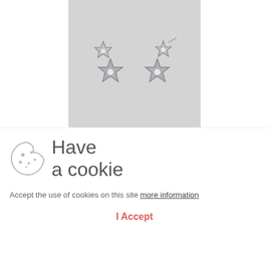[Figure (photo): Photo of two silver shooting star earrings with small crystal/diamond accents, shown against a light gray/white background]
SHOOTING STARS EARRINGS
Stock Ships in 1-2 days. Production 4-5 Weeks
★★★★★ (0)
ADD TO CART
Have a cookie
Accept the use of cookies on this site more information
I Accept